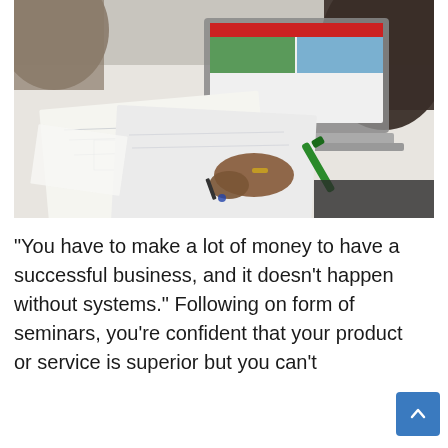[Figure (photo): Overhead view of two people at a desk reviewing technical blueprints/drawings, with a laptop open showing a website, green markers, and papers spread around. One person is drawing or annotating on the blueprints.]
“You have to make a lot of money to have a successful business, and it doesn’t happen without systems.” Following on form of seminars, you’re confident that your product or service is superior but you can’t